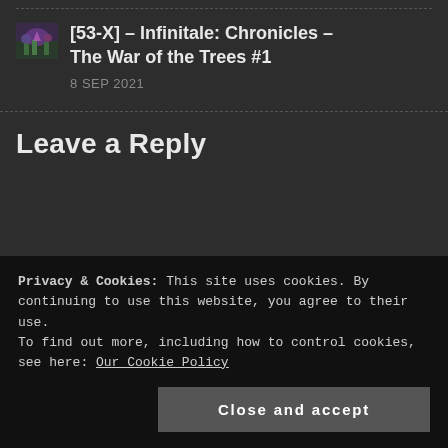[Figure (illustration): Small thumbnail image of a fantasy/game scene with purple and green tones]
[53-X] – Infinitale: Chronicles – The War of the Trees #1
8 SEP 2021
Leave a Reply
Privacy & Cookies: This site uses cookies. By continuing to use this website, you agree to their use.
To find out more, including how to control cookies, see here: Our Cookie Policy
Close and accept